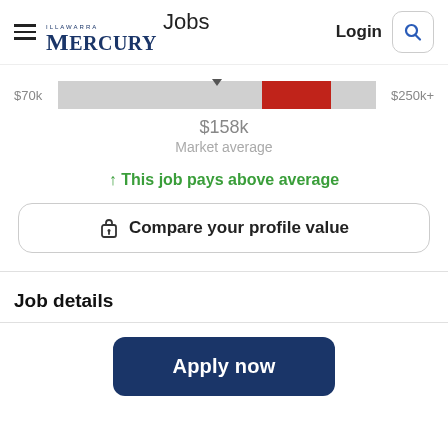MERCURY Jobs | Login
[Figure (infographic): Salary range bar showing $70k to $250k+, with a red highlighted section and a market average marker at $158k]
$158k Market average
↑ This job pays above average
🔒 Compare your profile value
Job details
Apply now